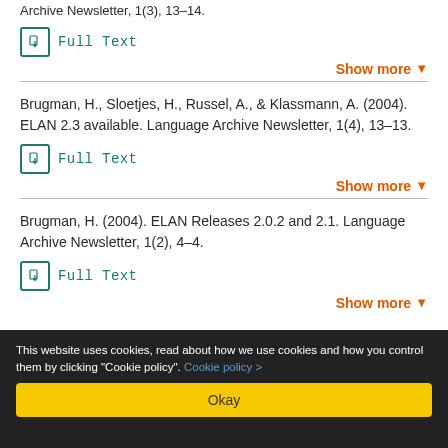Archive Newsletter, 1(3), 13–14.
Full Text
Show more
Brugman, H., Sloetjes, H., Russel, A., & Klassmann, A. (2004). ELAN 2.3 available. Language Archive Newsletter, 1(4), 13–13.
Full Text
Show more
Brugman, H. (2004). ELAN Releases 2.0.2 and 2.1. Language Archive Newsletter, 1(2), 4–4.
Full Text
Show more
This website uses cookies, read about how we use cookies and how you control them by clicking "Cookie policy". Cookie policy >
Okay